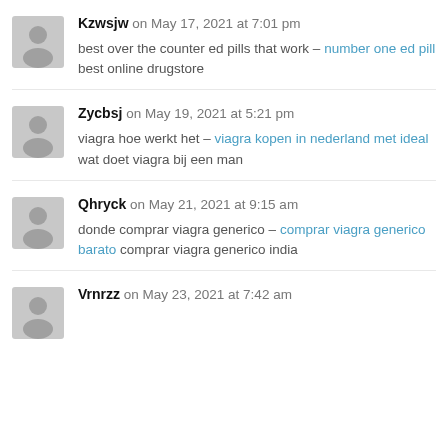Kzwsjw on May 17, 2021 at 7:01 pm — best over the counter ed pills that work – number one ed pill best online drugstore
Zycbsj on May 19, 2021 at 5:21 pm — viagra hoe werkt het – viagra kopen in nederland met ideal wat doet viagra bij een man
Qhryck on May 21, 2021 at 9:15 am — donde comprar viagra generico – comprar viagra generico barato comprar viagra generico india
Vrnrzz on May 23, 2021 at 7:42 am